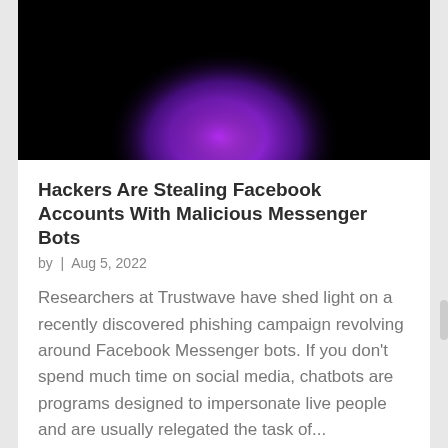[Figure (photo): Dark background with a glowing purple and violet circle/orb shape with a white outline arc at the top, partially cropped]
Hackers Are Stealing Facebook Accounts With Malicious Messenger Bots
by | Aug 5, 2022
Researchers at Trustwave have shed light on a recently discovered phishing campaign revolving around Facebook Messenger bots. If you don't spend much time on social media, chatbots are programs designed to impersonate live people and are usually relegated the task of...
read more